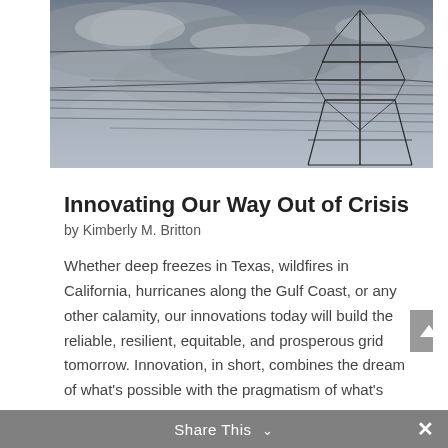[Figure (photo): Moody overcast sky with dark clouds; a large electrical transmission tower/pylon visible on the right side with power lines stretching across the image.]
Innovating Our Way Out of Crisis
by Kimberly M. Britton
Whether deep freezes in Texas, wildfires in California, hurricanes along the Gulf Coast, or any other calamity, our innovations today will build the reliable, resilient, equitable, and prosperous grid tomorrow. Innovation, in short, combines the dream of what's possible with the pragmatism of what's
Share This